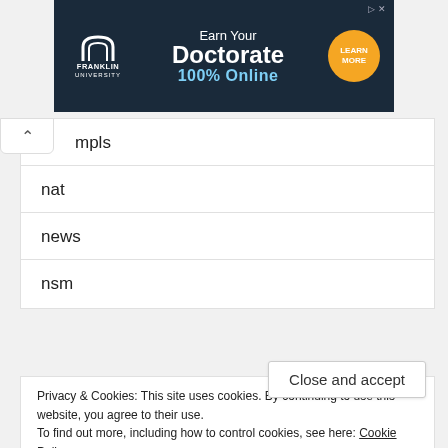[Figure (other): Franklin University advertisement banner: dark navy background with Franklin University arch logo, text 'Earn Your Doctorate 100% Online', and an orange 'LEARN MORE' button]
mpls
nat
news
nsm
Privacy & Cookies: This site uses cookies. By continuing to use this website, you agree to their use. To find out more, including how to control cookies, see here: Cookie Policy
policies